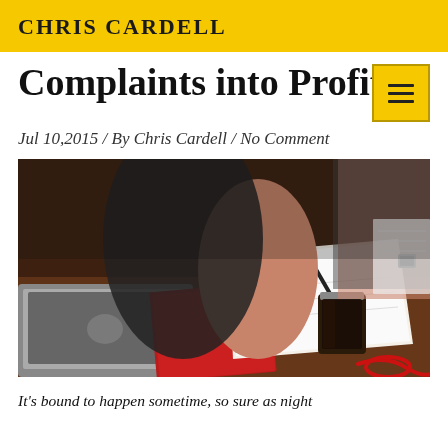CHRIS CARDELL
Complaints into Profit
Jul 10,2015 / By Chris Cardell / No Comment
[Figure (photo): Person sitting at a wooden desk writing in a notebook with a pen, with a red notebook, a glass jar with dark liquid, a red cord, and a MacBook laptop visible. Another person with crossed arms is partially visible in the background.]
It's bound to happen sometime, so sure as night